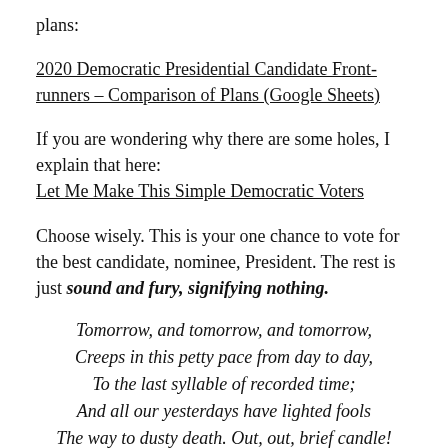plans:
2020 Democratic Presidential Candidate Frontrunners – Comparison of Plans (Google Sheets)
If you are wondering why there are some holes, I explain that here:
Let Me Make This Simple Democratic Voters
Choose wisely. This is your one chance to vote for the best candidate, nominee, President. The rest is just sound and fury, signifying nothing.
Tomorrow, and tomorrow, and tomorrow,
Creeps in this petty pace from day to day,
To the last syllable of recorded time;
And all our yesterdays have lighted fools
The way to dusty death. Out, out, brief candle!
Life's but a walking shadow, a poor player